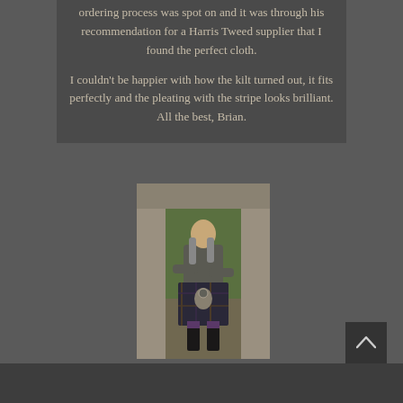ordering process was spot on and it was through his recommendation for a Harris Tweed supplier that I found the perfect cloth.

I couldn't be happier with how the kilt turned out, it fits perfectly and the pleating with the stripe looks brilliant. All the best, Brian.
[Figure (photo): Man wearing a tartan kilt and Harris Tweed jacket, leaning against a stone wall archway in a garden setting, with long grey hair, arms crossed, wearing black boots and purple socks with a sporran.]